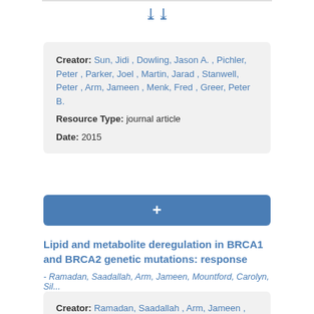[Figure (other): Chevron/double-down arrow icon in blue]
Creator: Sun, Jidi , Dowling, Jason A. , Pichler, Peter , Parker, Joel , Martin, Jarad , Stanwell, Peter , Arm, Jameen , Menk, Fred , Greer, Peter B.
Resource Type: journal article
Date: 2015
[Figure (other): Blue button with plus sign (+) for adding]
Lipid and metabolite deregulation in BRCA1 and BRCA2 genetic mutations: response
- Ramadan, Saadallah, Arm, Jameen, Mountford, Carolyn, Sil...
Creator: Ramadan, Saadallah , Arm, Jameen ,